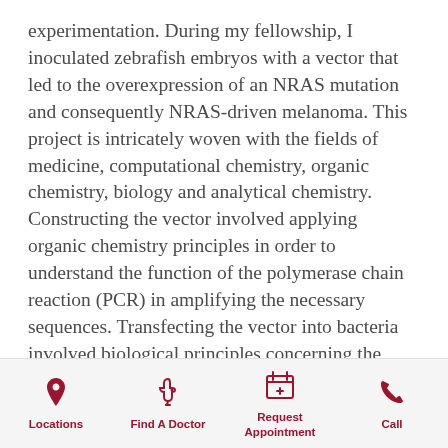experimentation. During my fellowship, I inoculated zebrafish embryos with a vector that led to the overexpression of an NRAS mutation and consequently NRAS-driven melanoma. This project is intricately woven with the fields of medicine, computational chemistry, organic chemistry, biology and analytical chemistry. Constructing the vector involved applying organic chemistry principles in order to understand the function of the polymerase chain reaction (PCR) in amplifying the necessary sequences. Transfecting the vector into bacteria involved biological principles concerning the makeup of the cell membrane and how temperature fluctuations lead to physical changes. Confirming that the vector was successfully constructed and contained in the bacterial medium required the use of computational chemistry analysis. The
Locations | Find A Doctor | Request Appointment | Call